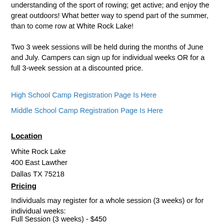understanding of the sport of rowing; get active; and enjoy the great outdoors!  What better way to spend part of the summer, than to come row at White Rock Lake!
Two 3 week sessions will be held during the months of June and July.  Campers can sign up for individual weeks OR for a full 3-week session at a discounted price.
High School Camp Registration Page Is Here
Middle School Camp Registration Page Is Here
Location
White Rock Lake
400 East Lawther
Dallas TX 75218
Pricing
Individuals may register for a whole session (3 weeks) or for individual weeks:
Full Session (3 weeks) - $450
1 Week Session - Not yet $145